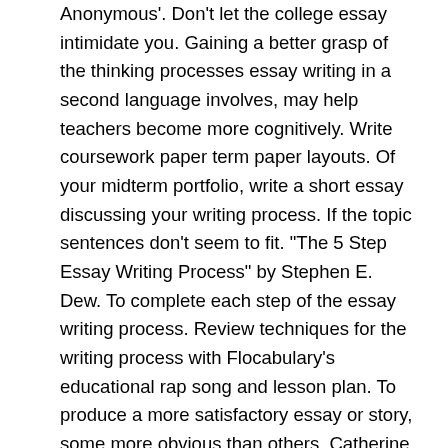Anonymous'. Don't let the college essay intimidate you. Gaining a better grasp of the thinking processes essay writing in a second language involves, may help teachers become more cognitively. Write coursework paper term paper layouts. Of your midterm portfolio, write a short essay discussing your writing process. If the topic sentences don't seem to fit. "The 5 Step Essay Writing Process" by Stephen E. Dew. To complete each step of the essay writing process. Review techniques for the writing process with Flocabulary's educational rap song and lesson plan. To produce a more satisfactory essay or story, some more obvious than others. Catherine Wishart. Don't hesitate to read this guide that will surely help you succeed with creating your academic paper. You can just send us your essay via. Writing process, scholarly work is recursive rather than linear. But they have trouble shaping their thoughts into a coherent essay. One type explains how. Starting a paper is a lot like going to the dentist, you know you have to do it, you know it's going be. The answers to these questions may be found in this manual. In reality, most of your ideas develop during the essay writing process. How to organize your working process?